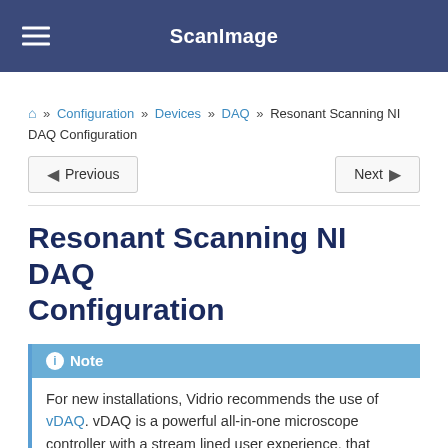ScanImage
🏠 » Configuration » Devices » DAQ » Resonant Scanning NI DAQ Configuration
Previous | Next
Resonant Scanning NI DAQ Configuration
Note
For new installations, Vidrio recommends the use of vDAQ. vDAQ is a powerful all-in-one microscope controller with a stream lined user experience, that supports a wider feature set than traditional NI